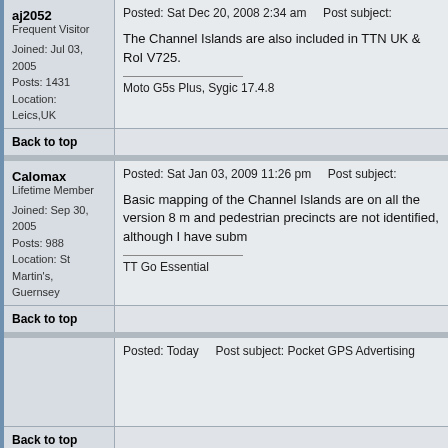aj2052
Frequent Visitor

Joined: Jul 03, 2005
Posts: 1431
Location: Leics,UK
Posted: Sat Dec 20, 2008 2:34 am    Post subject:
The Channel Islands are also included in TTN UK & RoI V725.
Moto G5s Plus, Sygic 17.4.8
Back to top
Calomax
Lifetime Member

Joined: Sep 30, 2005
Posts: 988
Location: St Martin's, Guernsey
Posted: Sat Jan 03, 2009 11:26 pm    Post subject:
Basic mapping of the Channel Islands are on all the version 8 m and pedestrian precincts are not identified, although I have subm
TT Go Essential
Back to top
Posted: Today    Post subject: Pocket GPS Advertising
Back to top
Display posts from previous: